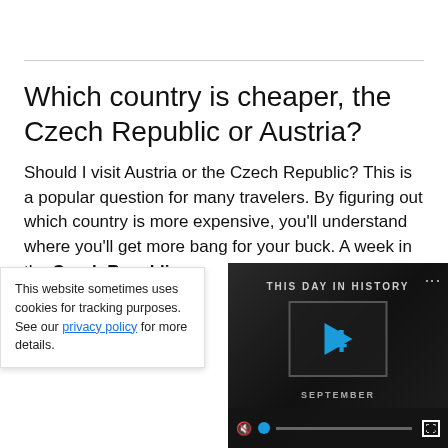Which country is cheaper, the Czech Republic or Austria?
Should I visit Austria or the Czech Republic? This is a popular question for many travelers. By figuring out which country is more expensive, you'll understand where you'll get more bang for your buck. A week in the Czech Republic (per person), whil…
This website sometimes uses cookies for tracking purposes. See our privacy policy for more details.
[Figure (screenshot): Video player overlay showing 'THIS DAY IN HISTORY' with a play button, the number 4, SEPTEMBER text, and playback controls including mute, progress bar, and fullscreen button.]